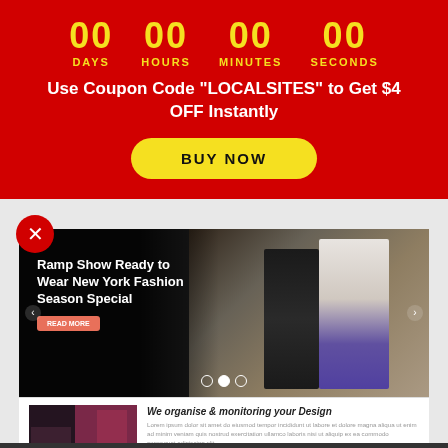[Figure (infographic): Red promotional banner with countdown timer showing 00 DAYS, 00 HOURS, 00 MINUTES, 00 SECONDS in yellow, coupon code text in white, and a yellow BUY NOW button]
Use Coupon Code "LOCALSITES" to Get $4 OFF Instantly
[Figure (screenshot): Screenshot of EM-Fashion-Show website showing a dark fashion runway hero image with text 'Ramp Show Ready to Wear New York Fashion Season Special' and a Read More button, plus a secondary section showing 'We organise & monitoring your Design']
EM-Fashion-Show